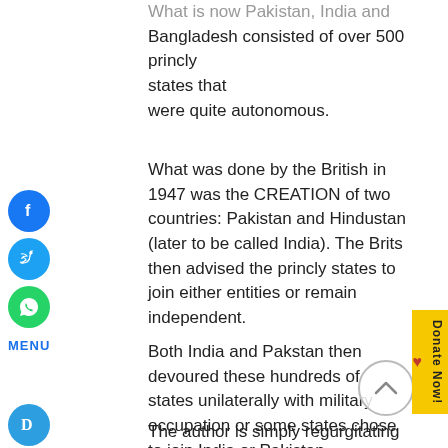What is now Pakistan, India and Bangladesh consisted of over 500 princly states that were quite autonomous.
What was done by the British in 1947 was the CREATION of two countries: Pakistan and Hindustan (later to be called India). The Brits then advised the princly states to join either entities or remain independent.
Both India and Pakstan then devoured these hundreds of states unilaterally with military occupation or some states chose to join India or Pakistan.
The author is simply regurgitating a myth.